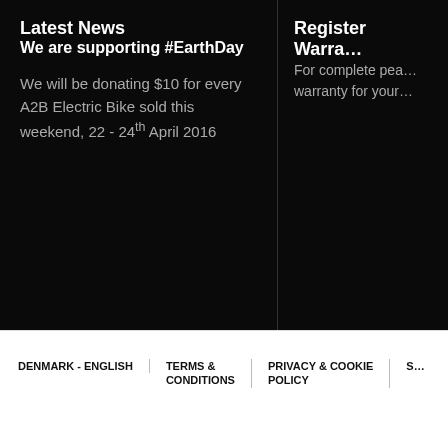Latest News
Register Warra…
We are supporting #EarthDay
We will be donating $10 for every A2B Electric Bike sold this weekend, 22 - 24th April 2016
For complete pea… warranty for your…
DENMARK - ENGLISH
TERMS & CONDITIONS
PRIVACY & COOKIE POLICY